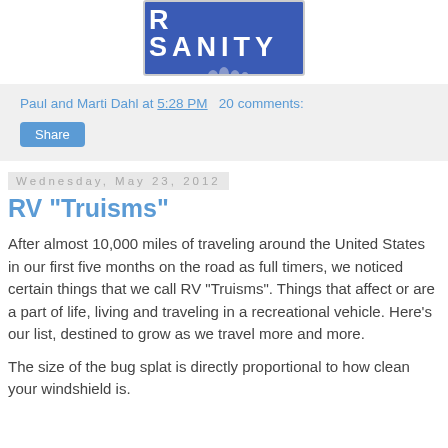[Figure (photo): South Dakota license plate reading 'R SANITY' with Mount Rushmore imagery at the bottom, blue background with white text]
Paul and Marti Dahl at 5:28 PM   20 comments:
Share
Wednesday, May 23, 2012
RV "Truisms"
After almost 10,000 miles of traveling around the United States in our first five months on the road as full timers, we noticed certain things that we call RV "Truisms".  Things that affect or are a part of life, living and traveling in a recreational vehicle.  Here's our list, destined to grow as we travel more and more.
The size of the bug splat is directly proportional to how clean your windshield is.